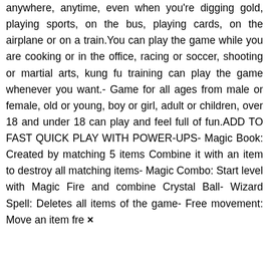anywhere, anytime, even when you're digging gold, playing sports, on the bus, playing cards, on the airplane or on a train.You can play the game while you are cooking or in the office, racing or soccer, shooting or martial arts, kung fu training can play the game whenever you want.- Game for all ages from male or female, old or young, boy or girl, adult or children, over 18 and under 18 can play and feel full of fun.ADD TO FAST QUICK PLAY WITH POWER-UPS- Magic Book: Created by matching 5 items Combine it with an item to destroy all matching items- Magic Combo: Start level with Magic Fire and combine Crystal Ball- Wizard Spell: Deletes all items of the game- Free movement: Move an item fre ×